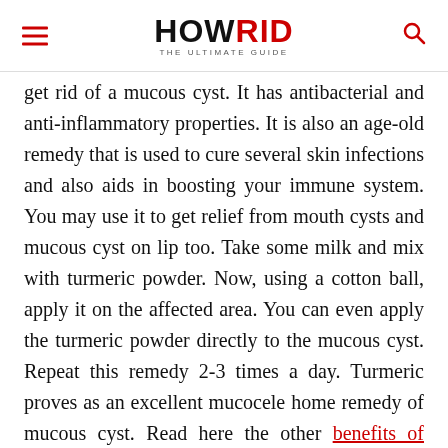HOWRID THE ULTIMATE GUIDE
get rid of a mucous cyst. It has antibacterial and anti-inflammatory properties. It is also an age-old remedy that is used to cure several skin infections and also aids in boosting your immune system. You may use it to get relief from mouth cysts and mucous cyst on lip too. Take some milk and mix with turmeric powder. Now, using a cotton ball, apply it on the affected area. You can even apply the turmeric powder directly to the mucous cyst. Repeat this remedy 2-3 times a day. Turmeric proves as an excellent mucocele home remedy of mucous cyst. Read here the other benefits of turmeric.